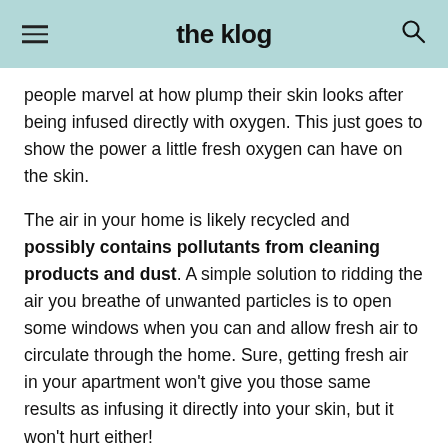the klog
people marvel at how plump their skin looks after being infused directly with oxygen. This just goes to show the power a little fresh oxygen can have on the skin.
The air in your home is likely recycled and possibly contains pollutants from cleaning products and dust. A simple solution to ridding the air you breathe of unwanted particles is to open some windows when you can and allow fresh air to circulate through the home. Sure, getting fresh air in your apartment won't give you those same results as infusing it directly into your skin, but it won't hurt either!
If you don't have access to fresh air 24/7 (hello